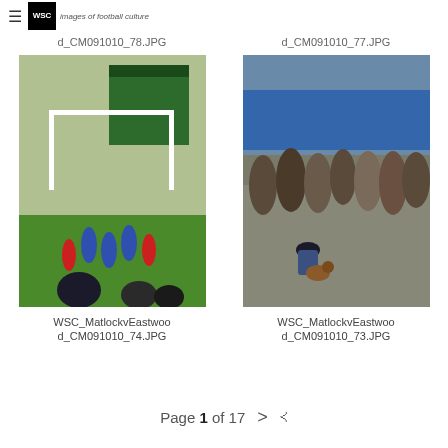≡ WSC images of football culture
WSC_MatlockvEastwoo d_CM091010_78.JPG
WSC_MatlockvEastwoo d_CM091010_77.JPG
[Figure (photo): Football match scene with players in red and blue kits at a goal, spectators watching in foreground with a large green building in background]
[Figure (photo): Crowd of spectators at a football ground, a person bending down to pet a brown dog in the foreground]
WSC_MatlockvEastwoo d_CM091010_74.JPG
WSC_MatlockvEastwoo d_CM091010_73.JPG
Page 1 of 17